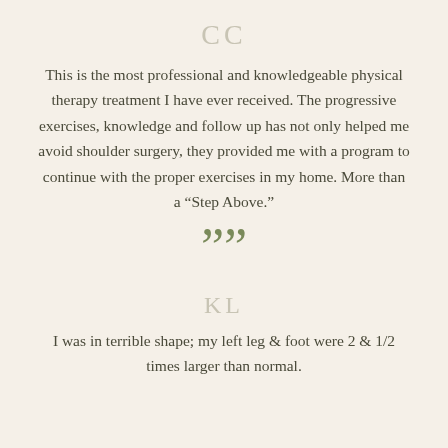CC
This is the most professional and knowledgeable physical therapy treatment I have ever received. The progressive exercises, knowledge and follow up has not only helped me avoid shoulder surgery, they provided me with a program to continue with the proper exercises in my home. More than a “Step Above.”
””
KL
I was in terrible shape; my left leg & foot were 2 & 1/2 times larger than normal.